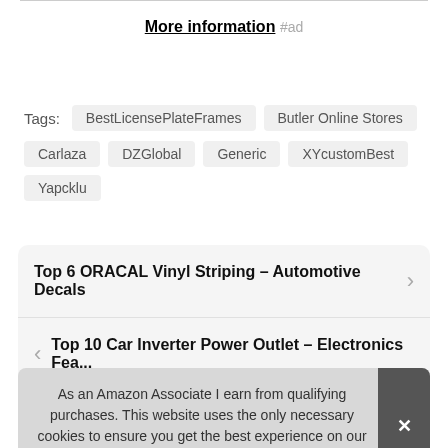More information #ad
Tags: BestLicensePlateFrames  Butler Online Stores  Carlaza  DZGlobal  Generic  XYcustomBest  Yapcklu
Top 6 ORACAL Vinyl Striping – Automotive Decals
Top 10 Car Inverter Power Outlet – Electronics Fea...
As an Amazon Associate I earn from qualifying purchases. This website uses the only necessary cookies to ensure you get the best experience on our website. More information